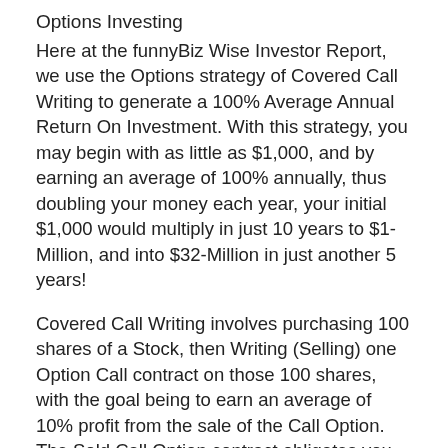Options Investing
Here at the funnyBiz Wise Investor Report, we use the Options strategy of Covered Call Writing to generate a 100% Average Annual Return On Investment. With this strategy, you may begin with as little as $1,000, and by earning an average of 100% annually, thus doubling your money each year, your initial $1,000 would multiply in just 10 years to $1-Million, and into $32-Million in just another 5 years!
Covered Call Writing involves purchasing 100 shares of a Stock, then Writing (Selling) one Option Call contract on those 100 shares, with the goal being to earn an average of 10% profit from the sale of the Call Option. The Sold Call Option contract obligates you to deliver the 100 shares of the underlying Stock to the purchaser of the Call contract if the Call Option exceeds the exercise price of the contract.